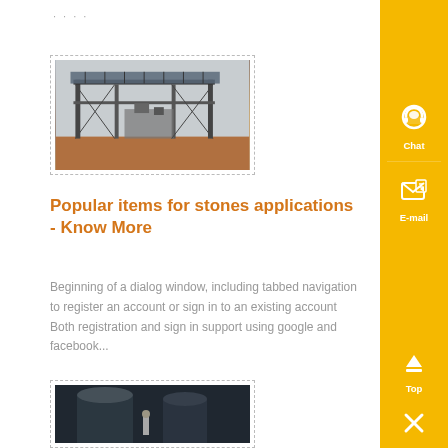....
[Figure (photo): Outdoor industrial scaffold or steel frame structure with solar panels on top, machinery inside, red dirt ground, cloudy sky]
Popular items for stones applications - Know More
Beginning of a dialog window, including tabbed navigation to register an account or sign in to an existing account Both registration and sign in support using google and facebook...
[Figure (photo): Interior industrial scene with large metal tanks or silos, a person visible in the middle ground working]